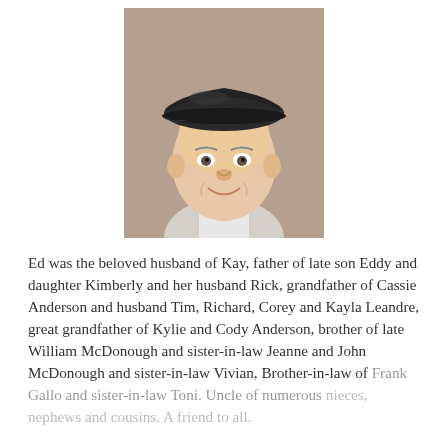[Figure (photo): Portrait photo of an elderly man smiling, wearing a dark flat cap and light-colored shirt, photographed from approximately chest up.]
Ed was the beloved husband of Kay, father of late son Eddy and daughter Kimberly and her husband Rick, grandfather of Cassie Anderson and husband Tim, Richard, Corey and Kayla Leandre, great grandfather of Kylie and Cody Anderson, brother of late William McDonough and sister-in-law Jeanne and John McDonough and sister-in-law Vivian, Brother-in-law of Frank Gallo and sister-in-law Toni. Uncle of numerous nieces, nephews and cousins. A friend to all.